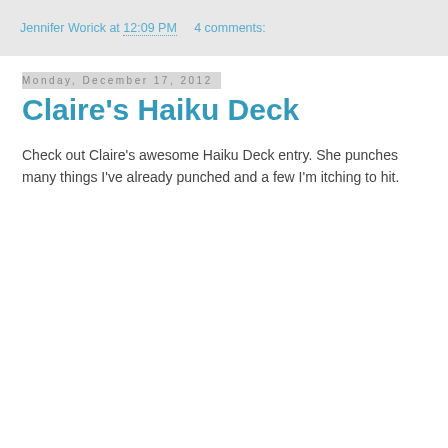Jennifer Worick at 12:09 PM    4 comments:
Monday, December 17, 2012
Claire's Haiku Deck
Check out Claire's awesome Haiku Deck entry. She punches many things I've already punched and a few I'm itching to hit.